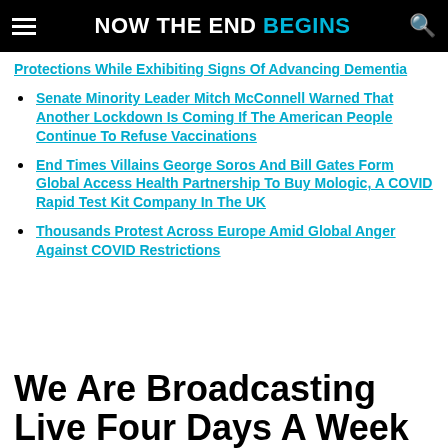NOW THE END BEGINS
Protections While Exhibiting Signs Of Advancing Dementia
Senate Minority Leader Mitch McConnell Warned That Another Lockdown Is Coming If The American People Continue To Refuse Vaccinations
End Times Villains George Soros And Bill Gates Form Global Access Health Partnership To Buy Mologic, A COVID Rapid Test Kit Company In The UK
Thousands Protest Across Europe Amid Global Anger Against COVID Restrictions
We Are Broadcasting Live Four Days A Week